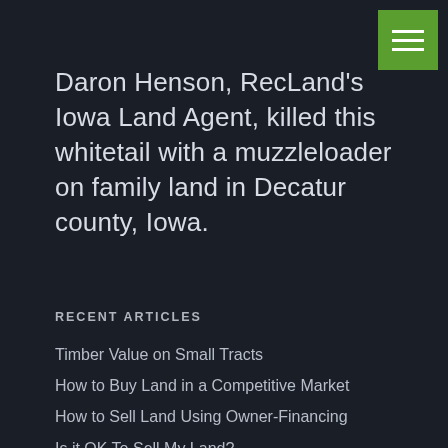Daron Henson, RecLand's Iowa Land Agent, killed this whitetail with a muzzleloader on family land in Decatur county, Iowa.
RECENT ARTICLES
Timber Value on Small Tracts
How to Buy Land in a Competitive Market
How to Sell Land Using Owner-Financing
Is it OK To Sell My Land?
Make Your Recreational Land Purchase More Enjoyable
How to Buy Hunting Land
How to Buy Land for Your Home
Land Terms You Must Learn